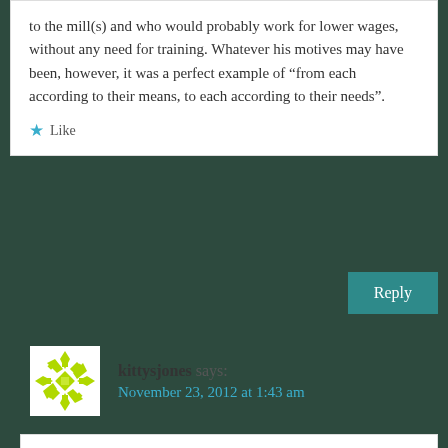to the mill(s) and who would probably work for lower wages, without any need for training. Whatever his motives may have been, however, it was a perfect example of “from each according to their means, to each according to their needs”.
★ Like
Reply
kittysjones says: November 23, 2012 at 1:43 am
Thank you, The Infamaous Culex.
I had originally intended to talk about